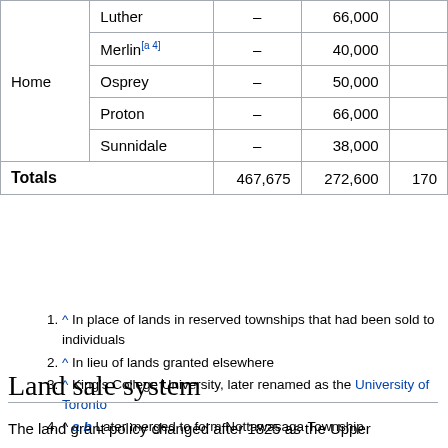|  |  |  |  |  |
| --- | --- | --- | --- | --- |
| Home | Luther | – | 66,000 |  |
|  | Merlin[a 4] | – | 40,000 |  |
|  | Osprey | – | 50,000 |  |
|  | Proton | – | 66,000 |  |
|  | Sunnidale | – | 38,000 |  |
| Totals |  | 467,675 | 272,600 | 170 |
^ In place of lands in reserved townships that had been sold to individuals
^ In lieu of lands granted elsewhere
^ King's College University, later renamed as the University of Toronto
^ a b Later merged to form Nottawasaga Township
Land sale system
The land grant policy changed after 1825 as the Upper